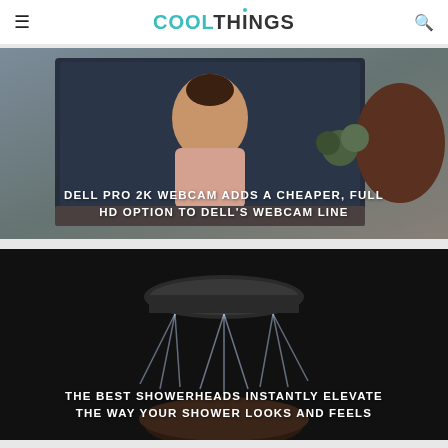COOLTHINGS
[Figure (photo): A woman on a video call displayed on a Dell monitor, with another person visible from behind in the foreground. Office/home office setting with plants in the background.]
DELL PRO 2K WEBCAM ADDS A CHEAPER, FULL HD OPTION TO DELL'S WEBCAM LINE
[Figure (photo): A close-up of a dark showerhead spraying water over a person's hair, shown from above on a black background.]
THE BEST SHOWERHEADS INSTANTLY ELEVATE THE WAY YOUR SHOWER LOOKS AND FEELS